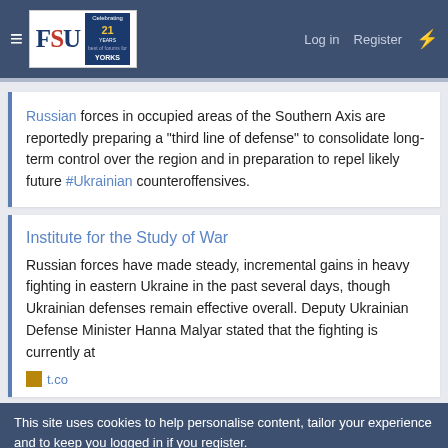FSU — Log in | Register
Russian forces in occupied areas of the Southern Axis are reportedly preparing a "third line of defense" to consolidate long-term control over the region and in preparation to repel likely future #Ukrainian counteroffensives.
Institute for the Study of War
Russian forces have made steady, incremental gains in heavy fighting in eastern Ukraine in the past several days, though Ukrainian defenses remain effective overall. Deputy Ukrainian Defense Minister Hanna Malyar stated that the fighting is currently at
t.co
This site uses cookies to help personalise content, tailor your experience and to keep you logged in if you register.
[Figure (advertisement): Wayfair ad: Top Appliances Low Prices, Shop now button, image of kitchen appliance]